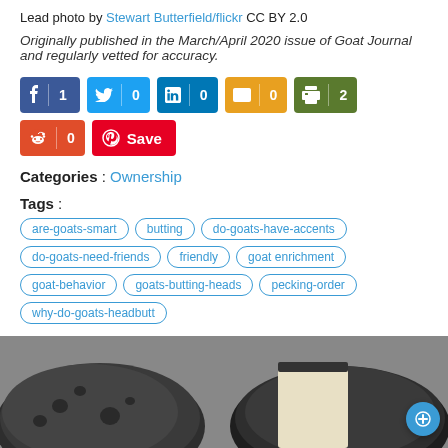Lead photo by Stewart Butterfield/flickr CC BY 2.0
Originally published in the March/April 2020 issue of Goat Journal and regularly vetted for accuracy.
[Figure (other): Social share buttons row 1: Facebook (1), Twitter (0), LinkedIn (0), Email (0), Print (2)]
[Figure (other): Social share buttons row 2: Reddit (0), Pinterest Save]
Categories : Ownership
Tags : are-goats-smart, butting, do-goats-have-accents, do-goats-need-friends, friendly, goat enrichment, goat-behavior, goats-butting-heads, pecking-order, why-do-goats-headbutt
[Figure (photo): Photo of two rounds of dark-rind goat cheese, one cut open showing white interior]